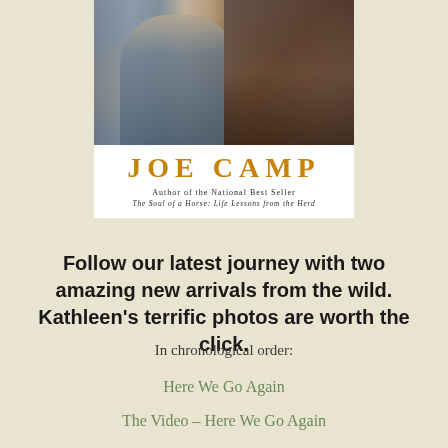[Figure (photo): Book cover image for Joe Camp. Top portion shows a person in winter clothing next to a horse. Bottom white band shows author name 'JOE CAMP' in large golden letters, with subtitle 'Author of the National Best Seller' and 'The Soul of a Horse: Life Lessons from the Herd'.]
Follow our latest journey with two amazing new arrivals from the wild. Kathleen's terrific photos are worth the click.
In chronological order:
Here We Go Again
The Video – Here We Go Again